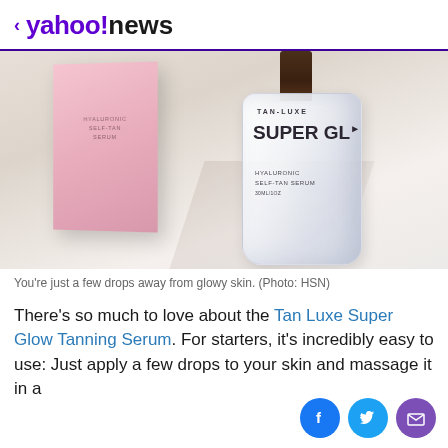< yahoo!news
[Figure (photo): Product photo of Tan-Luxe Super Glow Hyaluronic Self-Tan Serum bottle (frosted glass bottle with dark dropper cap) next to a pink product box, on a white surface with soft shadows.]
You're just a few drops away from glowy skin. (Photo: HSN)
There's so much to love about the Tan Luxe Super Glow Tanning Serum. For starters, it's incredibly easy to use: Just apply a few drops to your skin and massage it in a